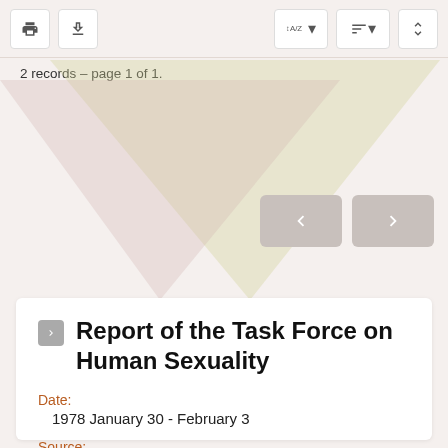2 records – page 1 of 1.
Report of the Task Force on Human Sexuality
Date:
1978 January 30 - February 3
Source:
House of Bishops. Minutes
Record Type:
Resolution
MORE DETAIL